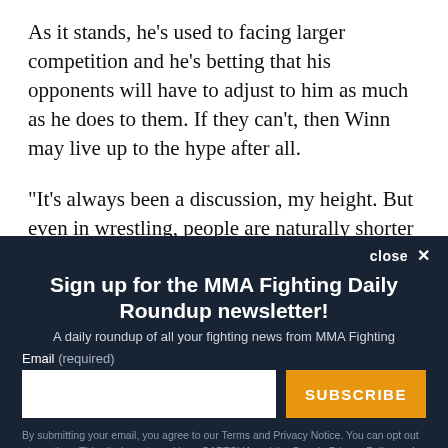As it stands, he's used to facing larger competition and he's betting that his opponents will have to adjust to him as much as he does to them. If they can't, then Winn may live up to the hype after all.
“It’s always been a discussion, my height. But even in wrestling, people are naturally shorter in wrestling, but I’ve
Sign up for the MMA Fighting Daily Roundup newsletter!
A daily roundup of all your fighting news from MMA Fighting
Email (required)
SUBSCRIBE
By submitting your email, you agree to our Terms and Privacy Notice. You can opt out at any time. This site is protected by reCAPTCHA and the Google Privacy Policy and Terms of Service apply.